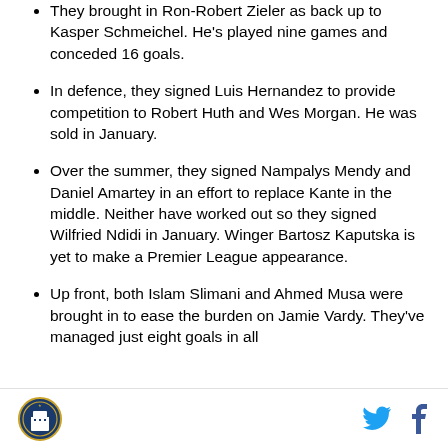They brought in Ron-Robert Zieler as back up to Kasper Schmeichel. He's played nine games and conceded 16 goals.
In defence, they signed Luis Hernandez to provide competition to Robert Huth and Wes Morgan. He was sold in January.
Over the summer, they signed Nampalys Mendy and Daniel Amartey in an effort to replace Kante in the middle. Neither have worked out so they signed Wilfried Ndidi in January. Winger Bartosz Kaputska is yet to make a Premier League appearance.
Up front, both Islam Slimani and Ahmed Musa were brought in to ease the burden on Jamie Vardy. They've managed just eight goals in all
Logo and social media icons